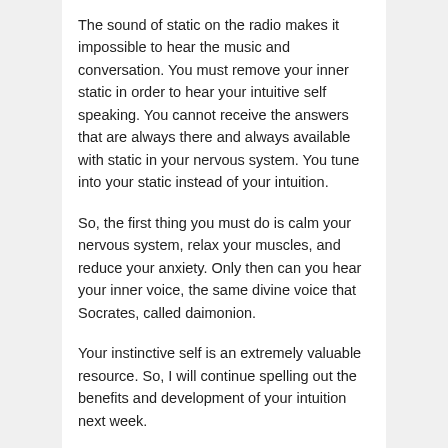The sound of static on the radio makes it impossible to hear the music and conversation. You must remove your inner static in order to hear your intuitive self speaking. You cannot receive the answers that are always there and always available with static in your nervous system. You tune into your static instead of your intuition.
So, the first thing you must do is calm your nervous system, relax your muscles, and reduce your anxiety. Only then can you hear your inner voice, the same divine voice that Socrates, called daimonion.
Your instinctive self is an extremely valuable resource. So, I will continue spelling out the benefits and development of your intuition next week.
===================
MEET YOUR INTUITIVE SELF: In the arms of Mother Nature it is easier to find your intuitive self. Especially if you have a guide gently showing you how to move pass